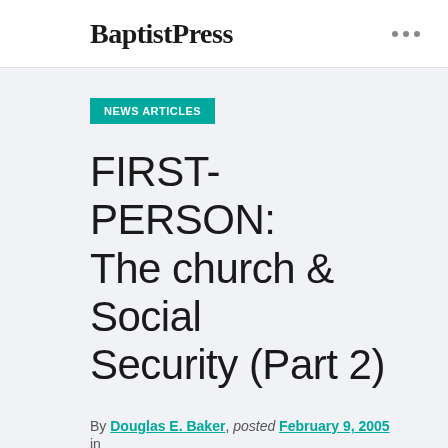Baptist Press
NEWS ARTICLES
FIRST-PERSON: The church & Social Security (Part 2)
By Douglas E. Baker, posted February 9, 2005 in